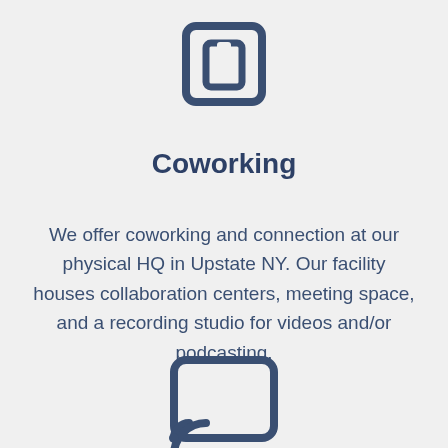[Figure (illustration): Building/home icon in dark blue outline style, shown at the top of the page]
Coworking
We offer coworking and connection at our physical HQ in Upstate NY. Our facility houses collaboration centers, meeting space, and a recording studio for videos and/or podcasting.
[Figure (illustration): Cast/streaming icon (rectangle with wifi signal in bottom-left corner) in dark blue outline style, shown at the bottom of the page]